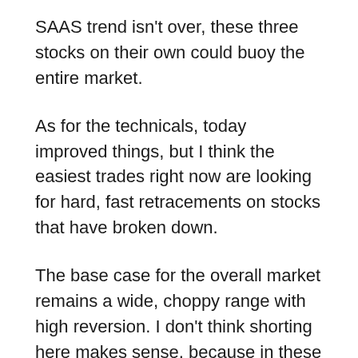SAAS trend isn't over, these three stocks on their own could buoy the entire market.
As for the technicals, today improved things, but I think the easiest trades right now are looking for hard, fast retracements on stocks that have broken down.
The base case for the overall market remains a wide, choppy range with high reversion. I don't think shorting here makes sense, because in these kinds of markets the first round of shorts tend to get blown out. That happened at the end of October where the S&P gapped up above 2700, and then saw an exhaustion gap up above 2800. Better to wait for the second extension higher to